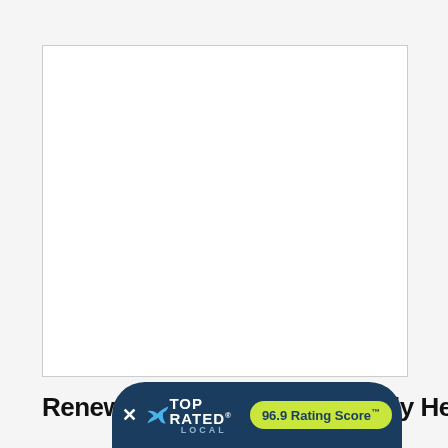[Figure (photo): White rectangular image placeholder with light gray border, occupying the upper portion of the page]
Renew, Restore, Update Family Heirloom
[Figure (logo): Top Rated Local badge overlay at bottom of page showing a blue rounded pill shape with white X close button, bird logo, TOP RATED LOCAL text in white, and a green pill showing '96.9 Rating Score™']